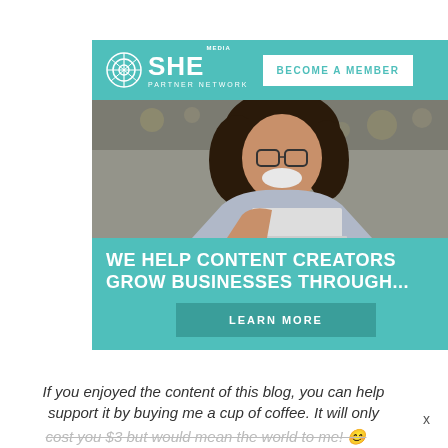[Figure (infographic): SHE Media Partner Network advertisement. Teal/turquoise banner at top with SHE Media logo and 'BECOME A MEMBER' button. Photo of smiling woman with glasses and curly hair using a laptop. Text: 'WE HELP CONTENT CREATORS GROW BUSINESSES THROUGH...' with a 'LEARN MORE' button.]
If you enjoyed the content of this blog, you can help support it by buying me a cup of coffee. It will only cost you $3 but would mean the world to me!